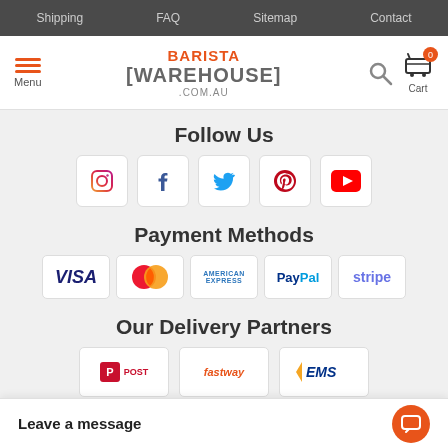Shipping  FAQ  Sitemap  Contact
[Figure (logo): Barista Warehouse .com.au logo with menu icon, search icon, and cart]
Follow Us
[Figure (infographic): Social media icons: Instagram, Facebook, Twitter, Pinterest, YouTube]
Payment Methods
[Figure (infographic): Payment method logos: VISA, MasterCard, American Express, PayPal, Stripe]
Our Delivery Partners
[Figure (infographic): Delivery partner logos: Australia Post, Fastway, EMS]
What's in-store
Barista Tools
Leave a message